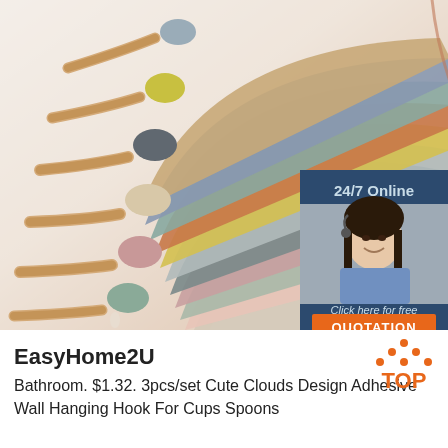[Figure (photo): Product photo showing colorful silicone/rubber spoons arranged on the left side and a fan of colorful curved silicone layers in the center, with a customer service chat widget overlay on the right side showing '24/7 Online', a female agent with headset, 'Click here for free chat!' text, and an orange 'QUOTATION' button.]
EasyHome2U
[Figure (logo): TOP badge logo with orange text 'TOP' and orange dots arranged in a triangle above it]
Bathroom. $1.32. 3pcs/set Cute Clouds Design Adhesive Wall Hanging Hook For Cups Spoons